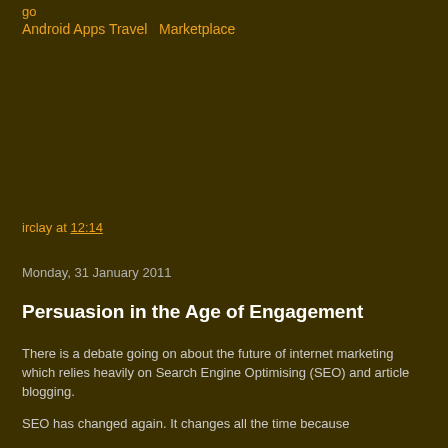go
Android Apps Travel  Marketplace
irclay at 12:14
Monday, 31 January 2011
Persuasion in the Age of Engagement
There is a debate going on about the future of internet marketing which relies heavily on Search Engine Optimising (SEO) and article blogging.
SEO has changed again. It changes all the time because